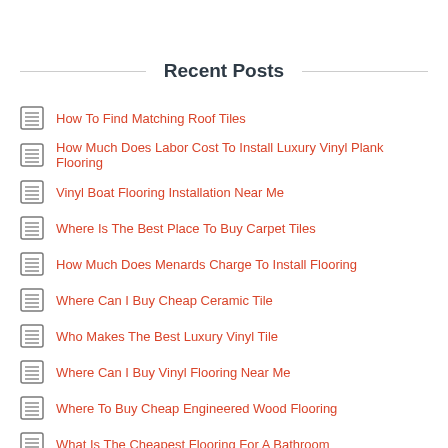Recent Posts
How To Find Matching Roof Tiles
How Much Does Labor Cost To Install Luxury Vinyl Plank Flooring
Vinyl Boat Flooring Installation Near Me
Where Is The Best Place To Buy Carpet Tiles
How Much Does Menards Charge To Install Flooring
Where Can I Buy Cheap Ceramic Tile
Who Makes The Best Luxury Vinyl Tile
Where Can I Buy Vinyl Flooring Near Me
Where To Buy Cheap Engineered Wood Flooring
What Is The Cheapest Flooring For A Bathroom
Amazon End Table Lamps For Living Room